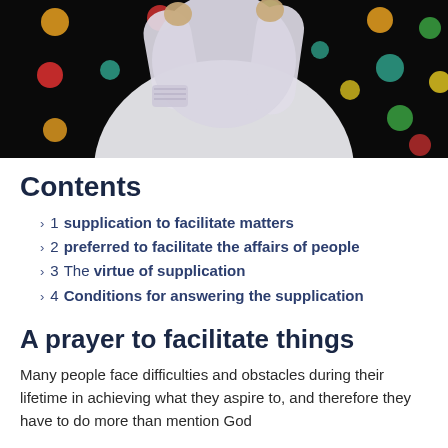[Figure (photo): A person wearing a white hijab/robe with arms raised, against a black background with colorful bokeh dots (orange, red, green, teal, yellow circles)]
Contents
1 supplication to facilitate matters
2 preferred to facilitate the affairs of people
3 The virtue of supplication
4 Conditions for answering the supplication
A prayer to facilitate things
Many people face difficulties and obstacles during their lifetime in achieving what they aspire to, and therefore they have to do more than mention God that lets them from facilitation matters and help them